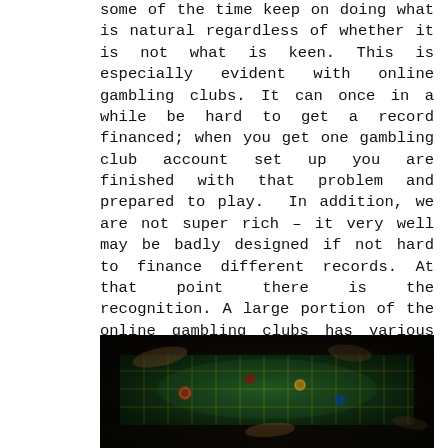some of the time keep on doing what is natural regardless of whether it is not what is keen. This is especially evident with online gambling clubs. It can once in a while be hard to get a record financed; when you get one gambling club account set up you are finished with that problem and prepared to play. In addition, we are not super rich – it very well may be badly designed if not hard to finance different records. At that point there is the recognition. A large portion of the online gambling clubs has various interfaces – now and then unpretentious contrasts, here and there significant – and some are more fit to my taste and propensities than others. Be that as it may, there are a ton of reasons why you need to have a record at more than one club.
[Figure (photo): Photo of people playing at a casino roulette table, hands visible placing chips on a green felt table with yellow grid lines]